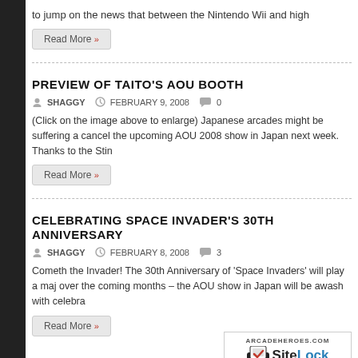to jump on the news that between the Nintendo Wii and high
Read More »
PREVIEW OF TAITO'S AOU BOOTH
SHAGGY   FEBRUARY 9, 2008   0
(Click on the image above to enlarge) Japanese arcades might be suffering a cancel the upcoming AOU 2008 show in Japan next week. Thanks to the Stin
Read More »
CELEBRATING SPACE INVADER'S 30TH ANNIVERSARY
SHAGGY   FEBRUARY 8, 2008   3
Cometh the Invader! The 30th Anniversary of 'Space Invaders' will play a maj over the coming months – the AOU show in Japan will be awash with celebra
Read More »
[Figure (logo): SiteLock SECURE badge from arcadeheroes.com, Passed 21-Aug-2022]
SHAGGY'S WEEKLY REVIEW – VOLFIED BY TAITO